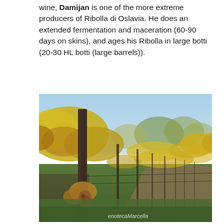wine, Damijan is one of the more extreme producers of Ribolla di Oslavia. He does an extended fermentation and maceration (60-90 days on skins), and ages his Ribolla in large botti (20-30 HL botti (large barrels)).
[Figure (photo): Photograph of a vineyard row in autumn, showing a wooden post in the foreground with yellow and golden leaves on the vines. The vines recede into the distance along a grassy path. The sky is blue. A watermark reads 'enotecaMarcella' in the lower right corner.]